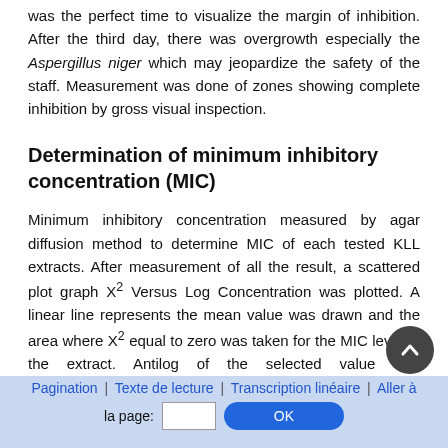was the perfect time to visualize the margin of inhibition. After the third day, there was overgrowth especially the Aspergillus niger which may jeopardize the safety of the staff. Measurement was done of zones showing complete inhibition by gross visual inspection.
Determination of minimum inhibitory concentration (MIC)
Minimum inhibitory concentration measured by agar diffusion method to determine MIC of each tested KLL extracts. After measurement of all the result, a scattered plot graph X² Versus Log Concentration was plotted. A linear line represents the mean value was drawn and the area where X² equal to zero was taken for the MIC level of the extract. Antilog of the selected value was mathematically identified as MIC. The X value represent the zone of inhibition diameter subtract the well diameter and divided by two.
Pagination | Texte de lecture | Transcription linéaire | Aller à la page: [input] OK